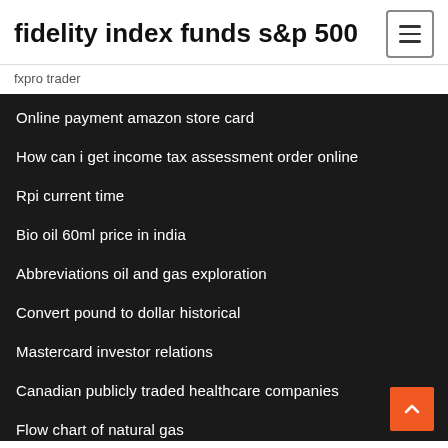fidelity index funds s&p 500
fxpro trader
Online payment amazon store card
How can i get income tax assessment order online
Rpi current time
Bio oil 60ml price in india
Abbreviations oil and gas exploration
Convert pound to dollar historical
Mastercard investor relations
Canadian publicly traded healthcare companies
Flow chart of natural gas
Convert egyptian pound into usd